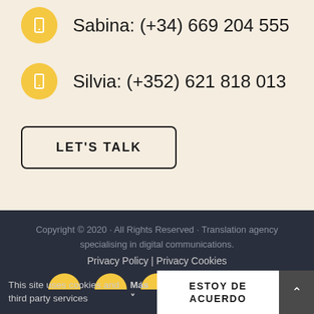Sabina: (+34) 669 204 555
Silvia: (+352) 621 818 013
LET'S TALK
Copyright © 2020 · All Rights Reserved · Translation agency specialising in digital communications. Privacy Policy | Privacy Cookies
This site uses cookies and third party services Más ˅
ESTOY DE ACUERDO